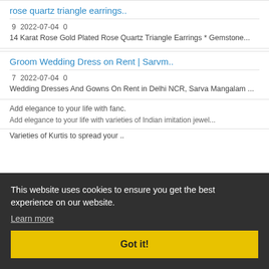rose quartz triangle earrings..
9  2022-07-04  0
14 Karat Rose Gold Plated Rose Quartz Triangle Earrings * Gemstone...
Groom Wedding Dress on Rent | Sarvm..
7  2022-07-04  0
Wedding Dresses And Gowns On Rent in Delhi NCR, Sarva Mangalam ...
Add elegance to your life with fanc.
Add elegance to your life with varieties of Indian imitation jewel...
Varieties of Kurtis to spread your ..
This website uses cookies to ensure you get the best experience on our website. Learn more Got it!